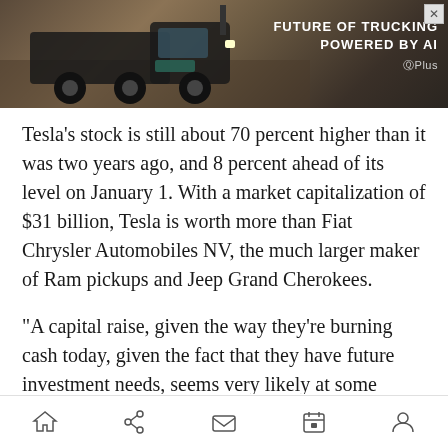[Figure (screenshot): Advertisement banner for 'Future of Trucking Powered by AI' with truck imagery on a dark background, G+ Plus logo, and close button]
Tesla’s stock is still about 70 percent higher than it was two years ago, and 8 percent ahead of its level on January 1. With a market capitalization of $31 billion, Tesla is worth more than Fiat Chrysler Automobiles NV, the much larger maker of Ram pickups and Jeep Grand Cherokees.
“A capital raise, given the way they’re burning cash today, given the fact that they have future investment needs, seems very likely at some point,” said UBS Securities analyst Colin Langan,
Home | Share | Mail | Calendar | Profile — navigation icons